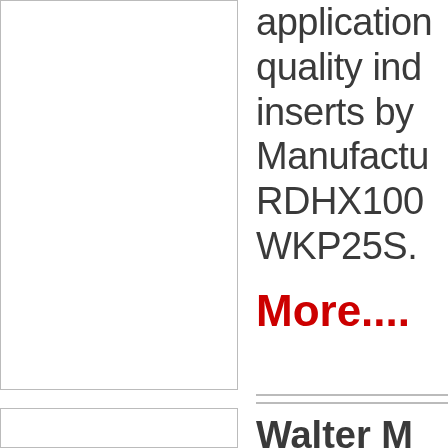[Figure (photo): Product image placeholder - top left, bordered white box]
application quality ind inserts by Manufactu RDHX100 WKP25S.
More....
[Figure (photo): Product image placeholder - bottom left, bordered white box]
Walter M